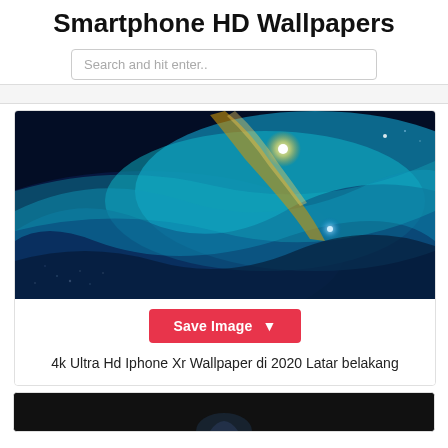Smartphone HD Wallpapers
Search and hit enter..
[Figure (screenshot): A space nebula wallpaper showing blue and teal cosmic clouds with stars and a bright golden light source in the center-top area.]
Save Image
4k Ultra Hd Iphone Xr Wallpaper di 2020 Latar belakang
[Figure (photo): Bottom of second wallpaper card, partially visible, dark background with a hint of a bird or figure shape.]